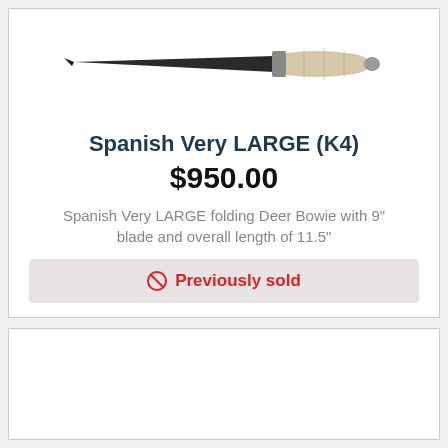[Figure (photo): Photograph of a Spanish Very LARGE folding Deer Bowie knife with a dark blade and pale bone-like handle, shown open and horizontal]
Spanish Very LARGE (K4)
$950.00
Spanish Very LARGE folding Deer Bowie with 9" blade and overall length of 11.5"
🚫 Previously sold